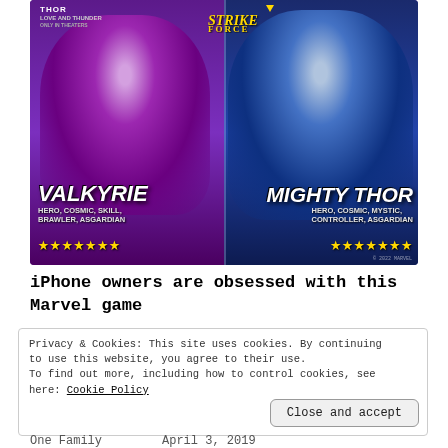[Figure (illustration): Marvel Strike Force game advertisement showing two characters: Valkyrie (left, with sword, purple background) labeled HERO, COSMIC, SKILL, BRAWLER, ASGARDIAN with 7 gold stars, and Mighty Thor (right, blue background) labeled HERO, COSMIC, MYSTIC, CONTROLLER, ASGARDIAN with 7 gold stars. Thor: Love and Thunder movie logo top left, Strike Force logo top center.]
iPhone owners are obsessed with this Marvel game
Privacy & Cookies: This site uses cookies. By continuing to use this website, you agree to their use.
To find out more, including how to control cookies, see here: Cookie Policy
Close and accept
One Family                    April 3, 2019